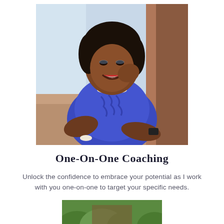[Figure (photo): Professional portrait photo of a smiling woman wearing a blue satin ruffled blouse and pearl necklace, with natural hair, posed with her hand near her face against an outdoor background.]
One-On-One Coaching
Unlock the confidence to embrace your potential as I work with you one-on-one to target your specific needs.
[Figure (photo): Partial view of an outdoor photo, cropped at the bottom of the page, showing green foliage and warm tones.]